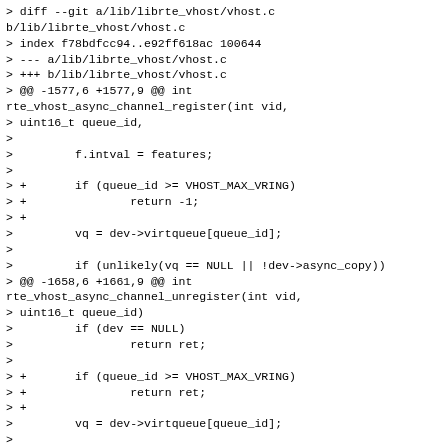> diff --git a/lib/librte_vhost/vhost.c b/lib/librte_vhost/vhost.c
> index f78bdfcc94..e92ff618ac 100644
> --- a/lib/librte_vhost/vhost.c
> +++ b/lib/librte_vhost/vhost.c
> @@ -1577,6 +1577,9 @@ int rte_vhost_async_channel_register(int vid,
> uint16_t queue_id,
>
>         f.intval = features;
>
> +       if (queue_id >= VHOST_MAX_VRING)
> +               return -1;
> +
>         vq = dev->virtqueue[queue_id];
>
>         if (unlikely(vq == NULL || !dev->async_copy))
> @@ -1658,6 +1661,9 @@ int rte_vhost_async_channel_unregister(int vid,
> uint16_t queue_id)
>         if (dev == NULL)
>                 return ret;
>
> +       if (queue_id >= VHOST_MAX_VRING)
> +               return ret;
> +
>         vq = dev->virtqueue[queue_id];
>
>         if (vq == NULL)
> ..